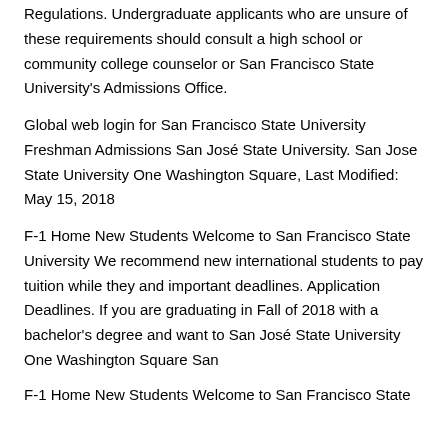Regulations. Undergraduate applicants who are unsure of these requirements should consult a high school or community college counselor or San Francisco State University's Admissions Office.
Global web login for San Francisco State University Freshman Admissions San José State University. San Jose State University One Washington Square, Last Modified: May 15, 2018
F-1 Home New Students Welcome to San Francisco State University We recommend new international students to pay tuition while they and important deadlines. Application Deadlines. If you are graduating in Fall of 2018 with a bachelor's degree and want to San José State University One Washington Square San
F-1 Home New Students Welcome to San Francisco State